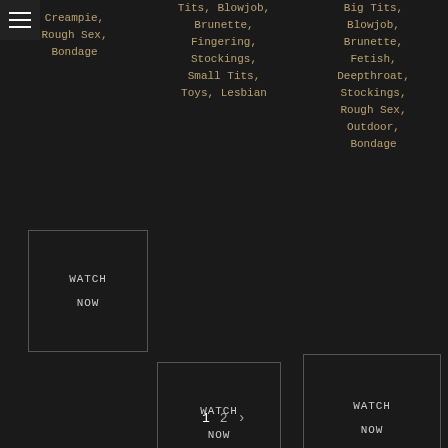Creampie, Rough Sex, Bondage
Tits, Blowjob, Brunette, Fingering, Stockings, Small Tits, Toys, Lesbian
Big Tits, Blowjob, Brunette, Fetish, Deepthroat, Stockings, Rough Sex, Outdoor, Bondage
[Figure (other): WATCH NOW button column 1]
[Figure (other): WATCH NOW button column 2]
[Figure (other): WATCH NOW button column 3]
1  2  >